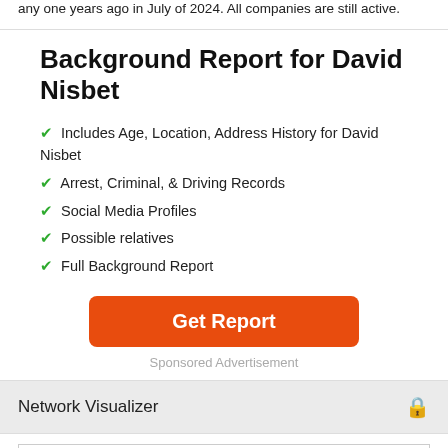any one years ago in July of 2024. All companies are still active.
Background Report for David Nisbet
Includes Age, Location, Address History for David Nisbet
Arrest, Criminal, & Driving Records
Social Media Profiles
Possible relatives
Full Background Report
Get Report
Sponsored Advertisement
Network Visualizer
[Figure (other): Empty visualizer box with border]